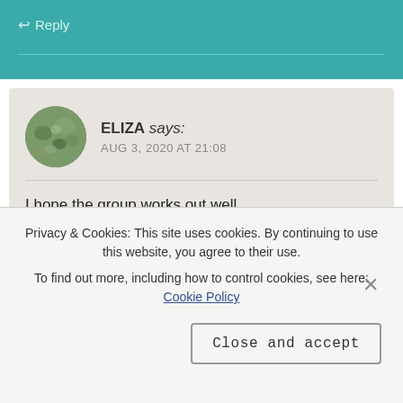↩ Reply
ELIZA says: AUG 3, 2020 AT 21:08
I hope the group works out well...
And, thanks...
It's definitely easier to believe in others than oneself. I'm just trying to remember that believing in another side is
Privacy & Cookies: This site uses cookies. By continuing to use this website, you agree to their use.
To find out more, including how to control cookies, see here: Cookie Policy
Close and accept